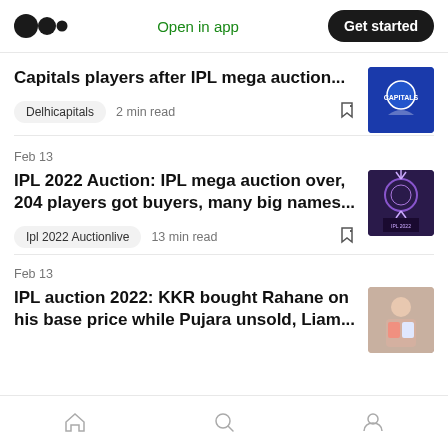Medium logo | Open in app | Get started
Capitals players after IPL mega auction...
Delhicapitals  2 min read
Feb 13
IPL 2022 Auction: IPL mega auction over, 204 players got buyers, many big names...
Ipl 2022 Auctionlive  13 min read
Feb 13
IPL auction 2022: KKR bought Rahane on his base price while Pujara unsold, Liam...